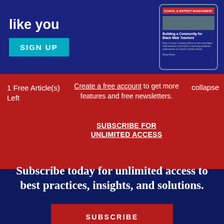[Figure (screenshot): Top banner with dark blue background showing 'like you' text, a cyan SIGN UP button, and a phone mockup displaying an article about Building a Community for Black Male Teachers]
1 Free Article(s) Left
Create a free account to get more features and free newsletters.
SUBSCRIBE FOR UNLIMITED ACCESS
collapse
Subscribe today for unlimited access to best practices, insights, and solutions.
SUBSCRIBE